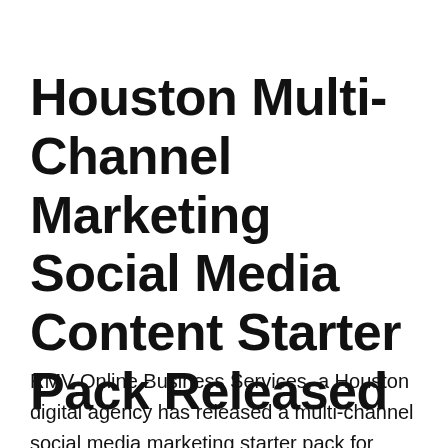Houston Multi-Channel Marketing Social Media Content Starter Pack Released
RMV Online Business Services, a Houston digital agency has released a multi-channel social media marketing starter pack for local business users. The